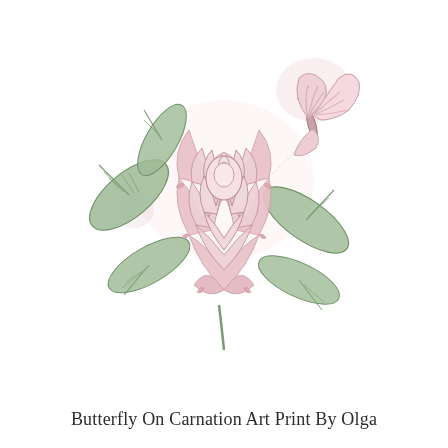[Figure (illustration): Botanical illustration of a pink carnation flower with green leaves and a pink butterfly perched on the upper right. The drawing style is detailed line art with soft watercolor-like pink and green coloring on a white background with faint pink watercolor splashes.]
Butterfly On Carnation Art Print By Olga